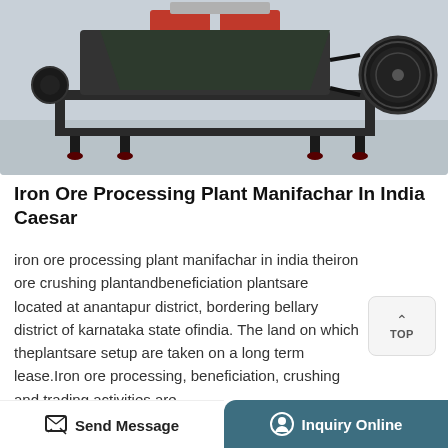[Figure (photo): Industrial iron ore processing/crushing machine on a metal frame, photographed in a warehouse or factory setting. The machine has red motor components and a black pulley/belt system on the right side.]
Iron Ore Processing Plant Manifachar In India Caesar
iron ore processing plant manifachar in india theiron ore crushing plantandbeneficiation plantsare located at anantapur district, bordering bellary district of karnataka state ofindia. The land on which theplantsare setup are taken on a long term lease.Iron ore processing, beneficiation, crushing and trading activities are …
Send Message   Inquiry Online